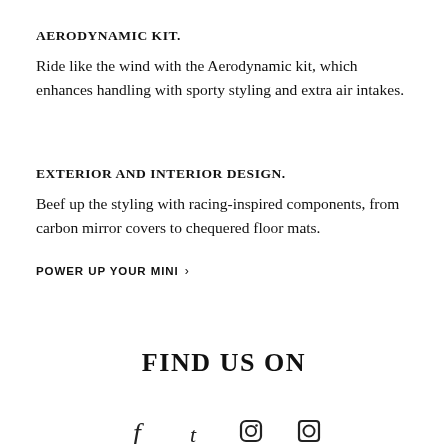AERODYNAMIC KIT.
Ride like the wind with the Aerodynamic kit, which enhances handling with sporty styling and extra air intakes.
EXTERIOR AND INTERIOR DESIGN.
Beef up the styling with racing-inspired components, from carbon mirror covers to chequered floor mats.
POWER UP YOUR MINI  >
FIND US ON